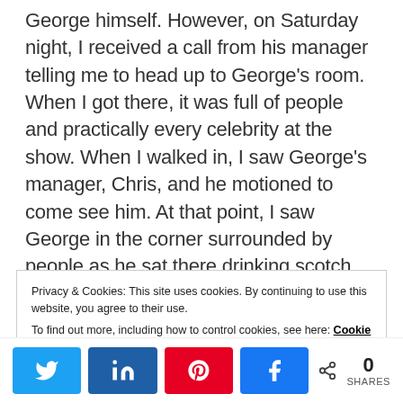George himself. However, on Saturday night, I received a call from his manager telling me to head up to George's room. When I got there, it was full of people and practically every celebrity at the show. When I walked in, I saw George's manager, Chris, and he motioned to come see him. At that point, I saw George in the corner surrounded by people as he sat there drinking scotch and smoking a cigarette. Chris started leading me to him and I said, “I don’t want to bother him with all those people around.” Chris
Privacy & Cookies: This site uses cookies. By continuing to use this website, you agree to their use.
To find out more, including how to control cookies, see here: Cookie Policy
[Figure (infographic): Social share bar with Twitter, LinkedIn, Pinterest, Facebook buttons and a share count showing 0 SHARES]